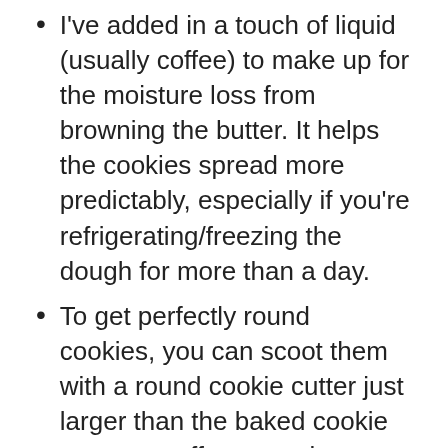I've added in a touch of liquid (usually coffee) to make up for the moisture loss from browning the butter. It helps the cookies spread more predictably, especially if you're refrigerating/freezing the dough for more than a day.
To get perfectly round cookies, you can scoot them with a round cookie cutter just larger than the baked cookie or use an offset spatula or spoon to nudge them into shape IMMEDIATELY after the cookies come out of the oven. Totally optional; it's just for looks.
Toasted milk powder (extra-strength brown